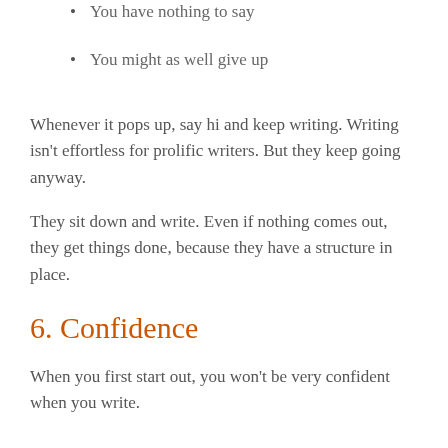You have nothing to say
You might as well give up
Whenever it pops up, say hi and keep writing. Writing isn't effortless for prolific writers. But they keep going anyway.
They sit down and write. Even if nothing comes out, they get things done, because they have a structure in place.
6. Confidence
When you first start out, you won't be very confident when you write.